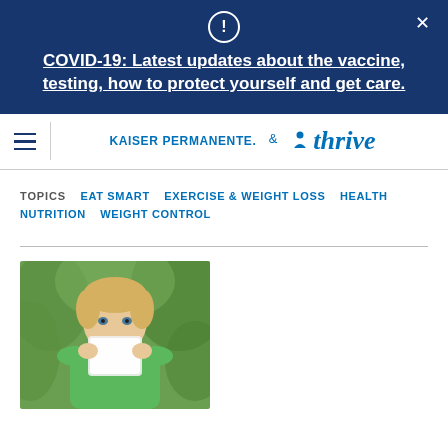COVID-19: Latest updates about the vaccine, testing, how to protect yourself and get care.
[Figure (logo): Kaiser Permanente. thrive logo with navigation hamburger menu]
TOPICS  EAT SMART  EXERCISE & WEIGHT LOSS  HEALTH  NUTRITION  WEIGHT CONTROL
[Figure (photo): Young blonde boy drinking from a glass of milk, wearing a green shirt, outdoors with green background]